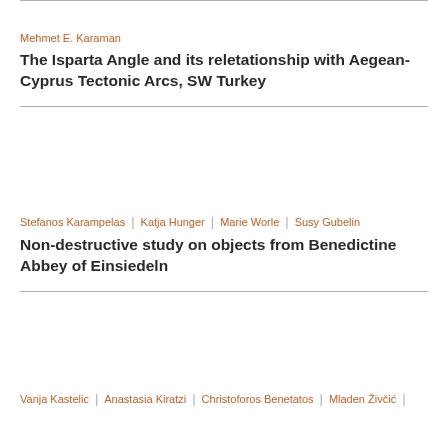Mehmet E. Karaman
The Isparta Angle and its reletationship with Aegean-Cyprus Tectonic Arcs, SW Turkey
Stefanos Karampelas | Katja Hunger | Marie Worle | Susy Gubelin
Non-destructive study on objects from Benedictine Abbey of Einsiedeln
Vanja Kastelic | Anastasia Kiratzi | Christoforos Benetatos | Mladen Živčić